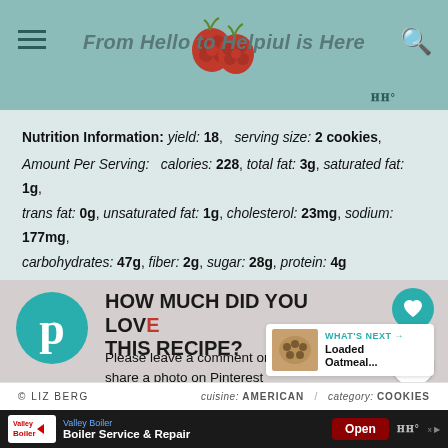From Hello to Helpful is Here
Nutrition Information: yield: 18, serving size: 2 cookies, Amount Per Serving: calories: 228, total fat: 3g, saturated fat: 1g, trans fat: 0g, unsaturated fat: 1g, cholesterol: 23mg, sodium: 177mg, carbohydrates: 47g, fiber: 2g, sugar: 28g, protein: 4g
[Figure (infographic): Pinterest logo circle with text HOW MUCH DID YOU LOVE THIS RECIPE? and subtext Please leave a comment on the blog or share a photo on Pinterest. Heart button with 488 count and share button overlay. What's Next widget showing Loaded Oatmeal...]
© LIZ BERG   cuisine: AMERICAN / category: COOKIES
[Figure (screenshot): Advertisement banner: Valley Boiler - Boiler Service & Repair, Open button]